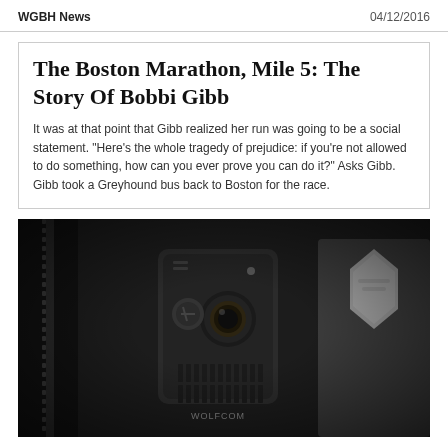WGBH News    04/12/2016
The Boston Marathon, Mile 5: The Story Of Bobbi Gibb
It was at that point that Gibb realized her run was going to be a social statement. "Here's the whole tragedy of prejudice: if you're not allowed to do something, how can you ever prove you can do it?" Asks Gibb. Gibb took a Greyhound bus back to Boston for the race.
[Figure (photo): Close-up photo of a Wolfcom police body camera attached to an officer's uniform, with a blurred police badge visible in the background.]